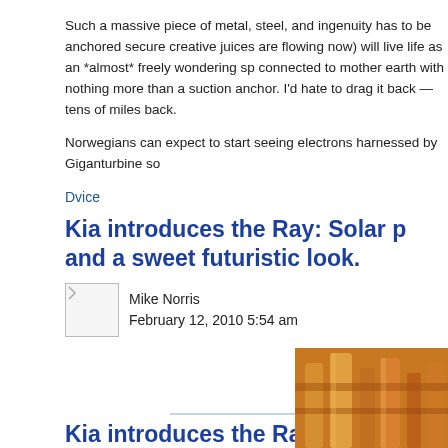Such a massive piece of metal, steel, and ingenuity has to be anchored securely creative juices are flowing now) will live life as an *almost* freely wondering sp connected to mother earth with nothing more than a suction anchor. I'd hate to drag it back — tens of miles back.
Norwegians can expect to start seeing electrons harnessed by Giganturbine so
Dvice
Kia introduces the Ray: Solar p and a sweet futuristic look.
Mike Norris
February 12, 2010 5:54 am
[Figure (photo): Industrial/factory scene with orange-colored metallic pipes and structures]